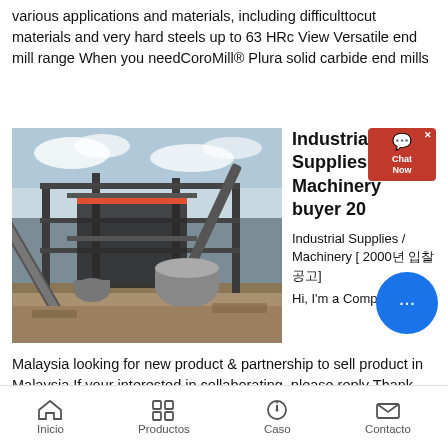various applications and materials, including difficulttocut materials and very hard steels up to 63 HRc View Versatile end mill range When you needCoroMill® Plura solid carbide end mills
[Figure (photo): Large industrial stone powder manufacturing plant / machinery structure with steel frame, conveyor belts, silos, and tanks at a construction or mining site under a cloudy sky.]
Industrial Supplies / Machinery buyer 20
Industrial Supplies / Machinery [ 2000년 입찰공고] Hi, I'm a Company in Malaysia looking for new product & partnership to sell product in Malaysia If your interested in collaborating, please reply Thank you.26/04/2013· Stone Powder Manufacturing Equipment Stone
Inicio   Productos   Caso   Contacto